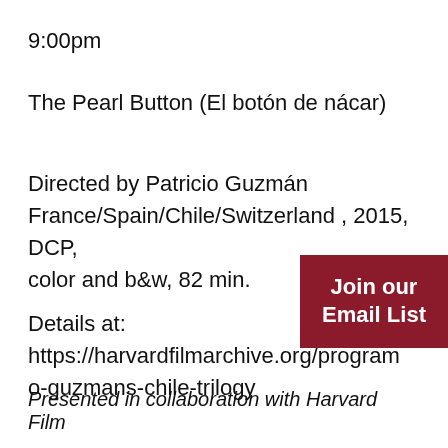9:00pm
The Pearl Button (El botón de nácar)
Directed by Patricio Guzmán
France/Spain/Chile/Switzerland , 2015, DCP, color and b&w, 82 min.
Details at:
https://harvardfilmarchive.org/program
o-guzmans-chile-trilogy
Join our Email List
Presented in collaboration with Harvard Film